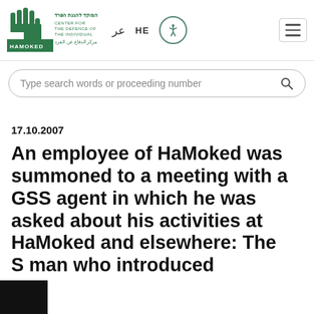[Figure (logo): HaMoked: Center for the Defence of the Individual logo — green hand silhouette with Hebrew, English, and Arabic text]
عر  HE  [accessibility icon]  [hamburger menu]
Type search words or proceeding number
17.10.2007
An employee of HaMoked was summoned to a meeting with a GSS agent in which he was asked about his activities at HaMoked and elsewhere: The [GSS] man who introduced